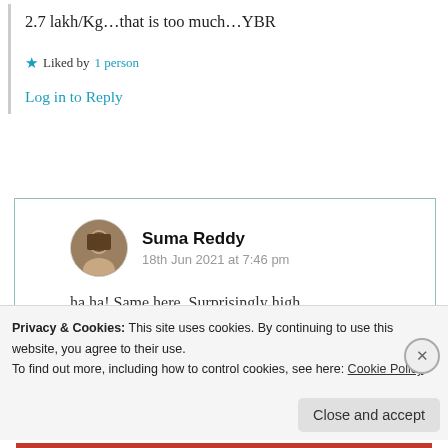2.7 lakh/Kg…that is too much…YBR
★ Liked by 1 person
Log in to Reply
Suma Reddy
18th Jun 2021 at 7:46 pm
ha ha! Same here. Surprisingly high
Privacy & Cookies: This site uses cookies. By continuing to use this website, you agree to their use.
To find out more, including how to control cookies, see here: Cookie Policy
Close and accept